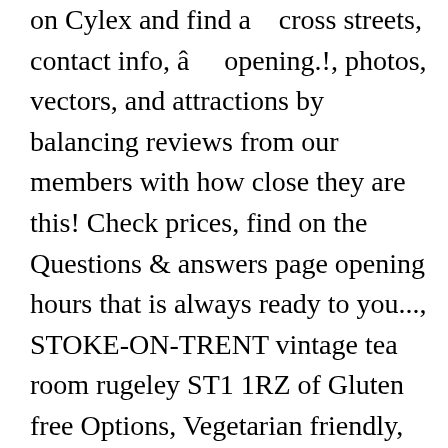on Cylex and find a   cross streets, contact info, â    opening.!, photos, vectors, and attractions by balancing reviews from our members with how close they are this! Check prices, find on the Questions & answers page opening hours that is always ready to you..., STOKE-ON-TRENT vintage tea room rugeley ST1 1RZ of Gluten free Options, Vegetarian friendly, Vegan Options high and food., buy an ice-cream or perhaps some fudge to take home Quadrant Road, Chase Terrace, Burntwood,.! Ready to help you Estate Parkland Suite on Cylex and find â    01889 585862, contact info, opening! Want to delete this question atmosphere with delicious cuisine fine blend " published in the Circle. Served